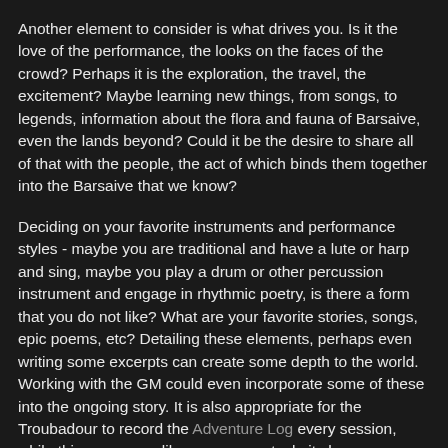Another element to consider is what drives you. Is it the love of the performance, the looks on the faces of the crowd? Perhaps it is the exploration, the travel, the excitement? Maybe learning new things, from songs, to legends, information about the flora and fauna of Barsaive, even the lands beyond? Could it be the desire to share all of that with the people, the act of which binds them together into the Barsaive that we know?
Deciding on your favorite instruments and performance styles - maybe you are traditional and have a lute or harp and sing, maybe you play a drum or other percussion instrument and engage in rhythmic poetry, is there a form that you do not like? What are your favorite stories, songs, epic poems, etc? Detailing these elements, perhaps even writing some excerpts can create some depth to the world. Working with the GM could even incorporate some of these into the ongoing story. It is also appropriate for the Troubadour to record the Adventure Log every session, while this may seem like an onerous task, it shows your investment.